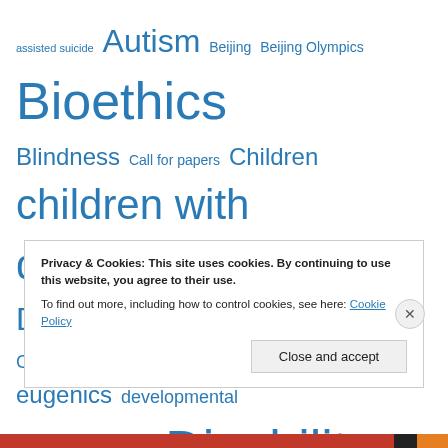[Figure (infographic): Tag cloud with disability-related terms in various sizes and shades of blue. Larger terms include Bioethics, children with disabilities, Cognitive Disability, Disability, disabled children, Discrimination, Down syndrome, Enhancement, Eugenics. Smaller terms include assisted suicide, Autism, Beijing, Beijing Olympics, Blindness, Call for papers, Children, Collective memory, Conference, Conferences, contemporary eugenics, developmental disability, Dick Sobsey, disability rights, disability studies, disabled athletes, Disabled people, Ethics.]
Privacy & Cookies: This site uses cookies. By continuing to use this website, you agree to their use. To find out more, including how to control cookies, see here: Cookie Policy
Close and accept